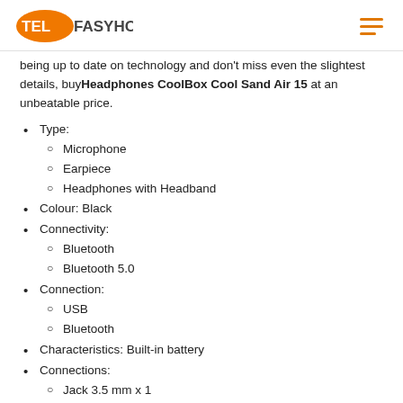TELFASYHOPS
being up to date on technology and don't miss even the slightest details, buy Headphones CoolBox Cool Sand Air 15 at an unbeatable price.
Type:
Microphone
Earpiece
Headphones with Headband
Colour: Black
Connectivity:
Bluetooth
Bluetooth 5.0
Connection:
USB
Bluetooth
Characteristics: Built-in battery
Connections:
Jack 3.5 mm x 1
Micro USB x 1